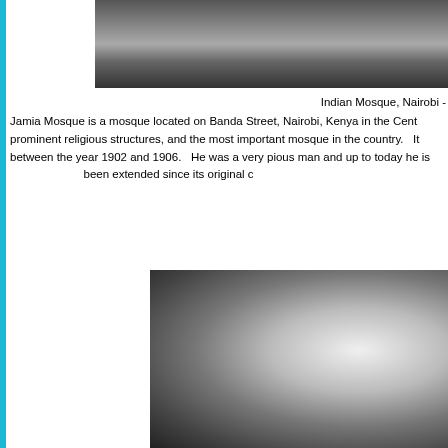[Figure (photo): Black and white photograph of a building, partially visible at the top of the page]
Indian Mosque, Nairobi -
Jamia Mosque is a mosque located on Banda Street, Nairobi, Kenya in the Cent prominent religious structures, and the most important mosque in the country.   It between the year 1902 and 1906.   He was a very pious man and up to today he is been extended since its original c
[Figure (photo): Black and white close-up photograph of a person's face near a car]